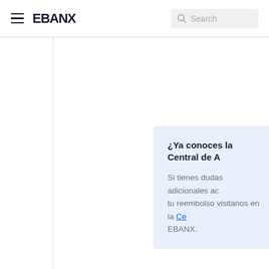EBANX | Search
¿Ya conoces la Central de A…
Si tienes dudas adicionales aca… tu reembolso visitanos en la Ce… EBANX.